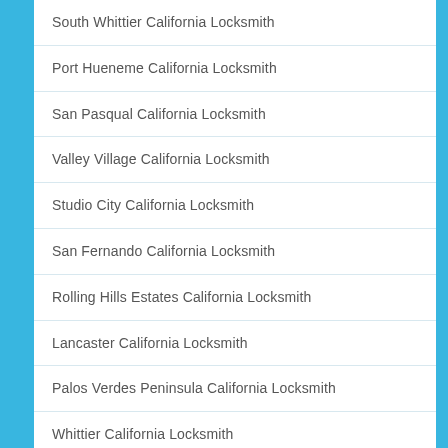South Whittier California Locksmith
Port Hueneme California Locksmith
San Pasqual California Locksmith
Valley Village California Locksmith
Studio City California Locksmith
San Fernando California Locksmith
Rolling Hills Estates California Locksmith
Lancaster California Locksmith
Palos Verdes Peninsula California Locksmith
Whittier California Locksmith
Palos Verdes Estates California Locksmith
Dodgertown California Locksmith
Fillmore California Locksmith
Lake Elsinore California Locksmith
West Hollywood California Locksmith